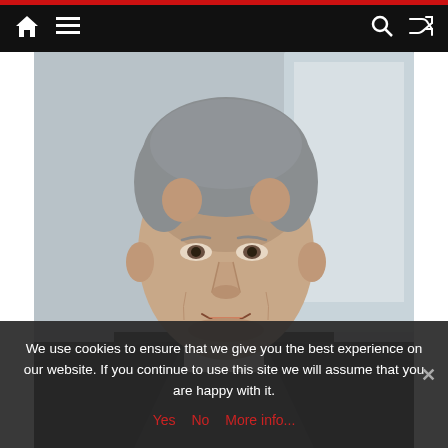Navigation bar with home, menu, search, and shuffle icons
[Figure (photo): Close-up headshot of a middle-aged man with grey hair, wearing a dark suit and white shirt, smiling slightly, photographed against a blurred light background]
We use cookies to ensure that we give you the best experience on our website. If you continue to use this site we will assume that you are happy with it.
Yes  No  More info...